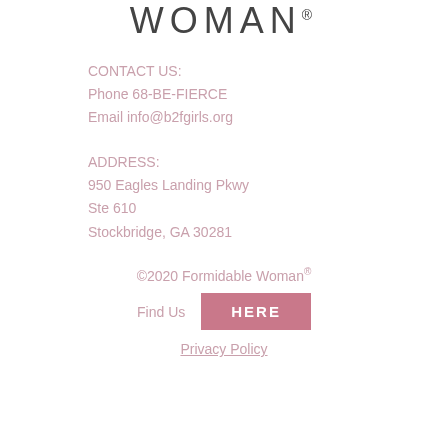[Figure (logo): Formidable WOMAN logo text in large spaced sans-serif lettering]
CONTACT US:
Phone 68-BE-FIERCE
Email info@b2fgirls.org
ADDRESS:
950 Eagles Landing Pkwy
Ste 610
Stockbridge, GA 30281
©2020 Formidable Woman®
Find Us   HERE
Privacy Policy